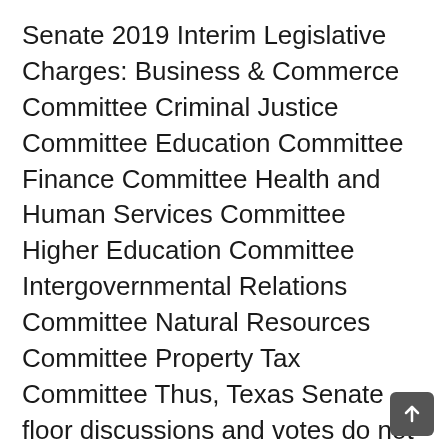Senate 2019 Interim Legislative Charges: Business & Commerce Committee Criminal Justice Committee Education Committee Finance Committee Health and Human Services Committee Higher Education Committee Intergovernmental Relations Committee Natural Resources Committee Property Tax Committee Thus, Texas Senate floor discussions and votes do not involve members of the Texas House of Representatives. Their findings will affect actions taken during the next regular session which begins Jan. 8, 2013. These interim committees hold hearings and take public testimony. These charges include 7 that were issued to the Senate Select Committee on Mass Violence Prevention and Community Safety in … Senate Committee on Criminal Justice ... INTERIM